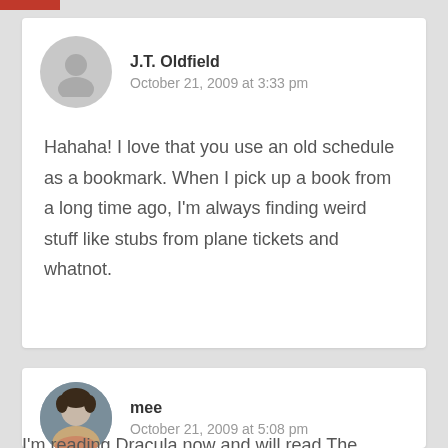J.T. Oldfield
October 21, 2009 at 3:33 pm
Hahaha! I love that you use an old schedule as a bookmark. When I pick up a book from a long time ago, I'm always finding weird stuff like stubs from plane tickets and whatnot.
mee
October 21, 2009 at 5:08 pm
I'm reading Dracula now and will read The